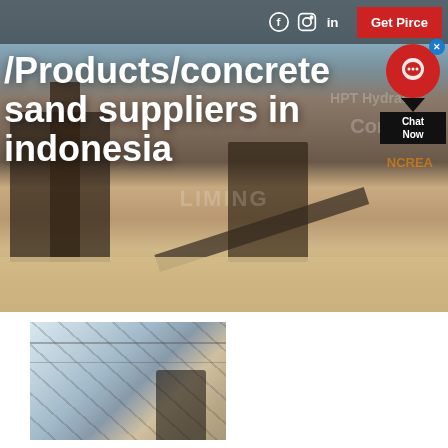[Figure (photo): Industrial mining/crushing equipment facility with conveyor belts and processing machinery against a sky background]
/Products/concrete sand suppliers in indonesia
[Figure (photo): Interior of industrial building or warehouse with steel structure visible]